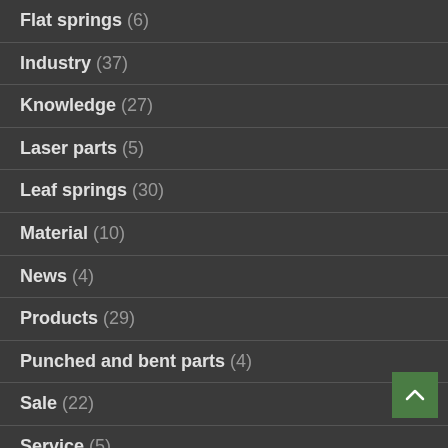Flat springs (6)
Industry (37)
Knowledge (27)
Laser parts (5)
Leaf springs (30)
Material (10)
News (4)
Products (29)
Punched and bent parts (4)
Sale (22)
Service (5)
Shaped springs (10)
Spring clips (6)
Spring washers (5)